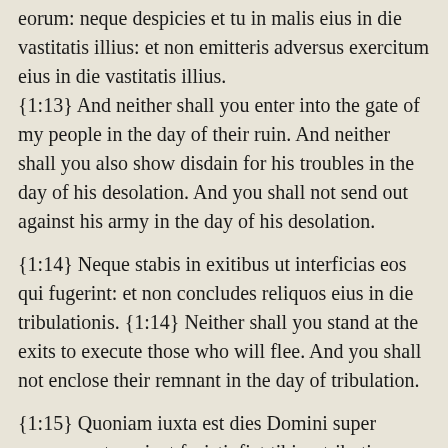eorum: neque despicies et tu in malis eius in die vastitatis illius: et non emitteris adversus exercitum eius in die vastitatis illius.
{1:13} And neither shall you enter into the gate of my people in the day of their ruin. And neither shall you also show disdain for his troubles in the day of his desolation. And you shall not send out against his army in the day of his desolation.
{1:14} Neque stabis in exitibus ut interficias eos qui fugerint: et non concludes reliquos eius in die tribulationis. {1:14} Neither shall you stand at the exits to execute those who will flee. And you shall not enclose their remnant in the day of tribulation.
{1:15} Quoniam iuxta est dies Domini super omnes gentes: sicut fecisti, fiet tibi: retributionem tuam convertet in caput tuum. {1:15} For the day of the Lord is near, over all nations. Just